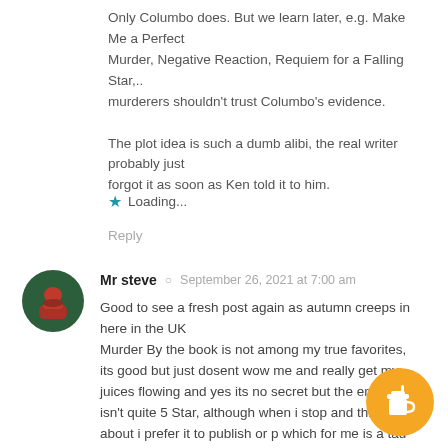Only Columbo does. But we learn later, e.g. Make Me a Perfect Murder, Negative Reaction, Requiem for a Falling Star,.. murderers shouldn't trust Columbo's evidence.

The plot idea is such a dumb alibi, the real writer probably just forgot it as soon as Ken told it to him.
⭐ Loading...
Reply
Mr steve  ○  September 26, 2021 at 7:00 am
Good to see a fresh post again as autumn creeps in here in the UK
Murder By the book is not among my true favorites, its good but just dosent wow me and really get my juices flowing and yes its no secret but the ending isn't quite 5 Star, although when i stop and think about i prefer it to publish or p which for me is a tad overrated anyway Theres a line up today on 5USA
10am Double Shock
[Figure (illustration): Orange circular buy-me-a-coffee button with a coffee cup icon]